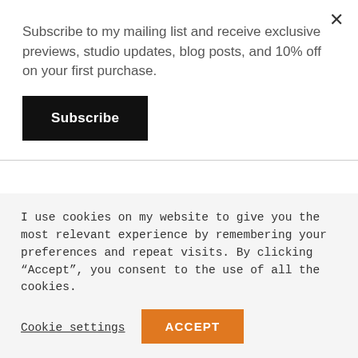Subscribe to my mailing list and receive exclusive previews, studio updates, blog posts, and 10% off on your first purchase.
Subscribe
I listen to this podcast when I need a little extra help falling to sleep. Unlike the other podcasts that I've chosen for the Studio Companion Series, I do not listen to this podcast while in the studio. However, a good night's sleep is essential to getting to the studio in the
I use cookies on my website to give you the most relevant experience by remembering your preferences and repeat visits. By clicking "Accept", you consent to the use of all the cookies.
Cookie settings
ACCEPT